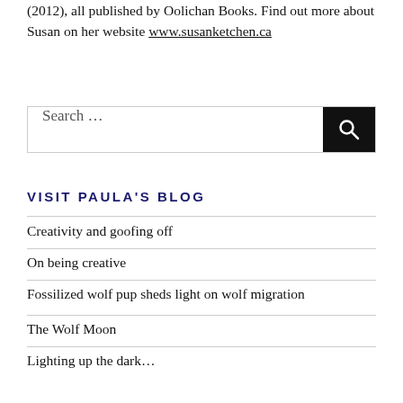(2012), all published by Oolichan Books. Find out more about Susan on her website www.susanketchen.ca
[Figure (other): Search box with text input labeled 'Search …' and a black search button with magnifying glass icon]
VISIT PAULA'S BLOG
Creativity and goofing off
On being creative
Fossilized wolf pup sheds light on wolf migration
The Wolf Moon
Lighting up the dark…